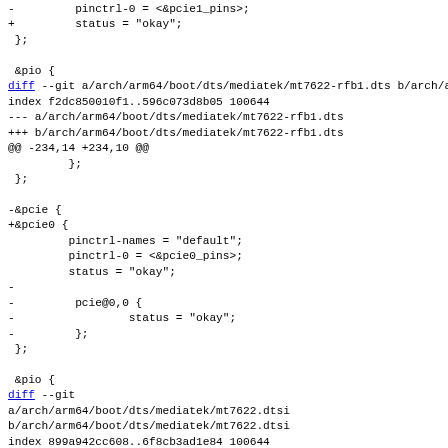Diff/patch code showing changes to mediatek device tree source files, including pcie and pio sections with git diff headers and unified diff hunks.